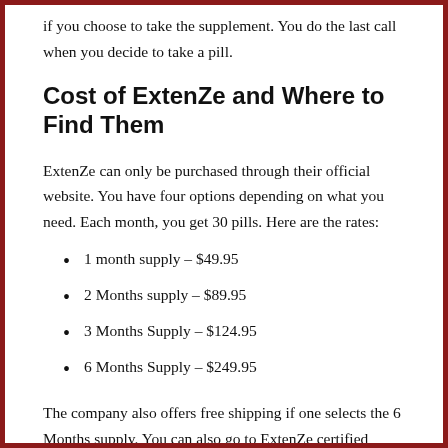if you choose to take the supplement. You do the last call when you decide to take a pill.
Cost of ExtenZe and Where to Find Them
ExtenZe can only be purchased through their official website. You have four options depending on what you need. Each month, you get 30 pills. Here are the rates:
1 month supply – $49.95
2 Months supply – $89.95
3 Months Supply – $124.95
6 Months Supply – $249.95
The company also offers free shipping if one selects the 6 Months supply. You can also go to ExtenZe certified affiliates if you would like to find the products on those sites.